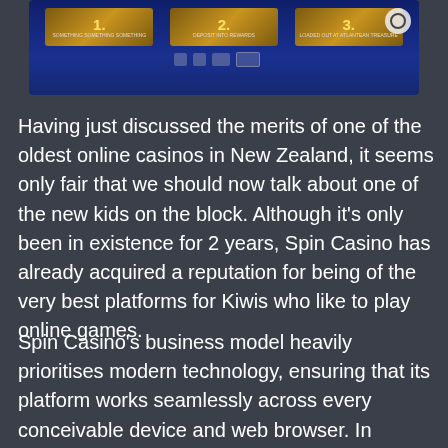[Figure (screenshot): Screenshot of Spin Casino website showing bonus offers with gold/blue interface elements on dark blue background]
Having just discussed the merits of one of the oldest online casinos in New Zealand, it seems only fair that we should now talk about one of the new kids on the block. Although it's only been in existence for 2 years, Spin Casino has already acquired a reputation for being of the very best platforms for Kiwis who like to play online games.
Spin Casino's business model heavily prioritises modern technology, ensuring that its platform works seamlessly across every conceivable device and web browser. In addition, their website has a stunning array of visuals that are a match for any other $1